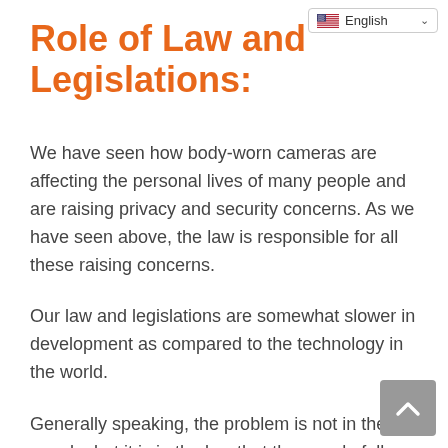English
Role of Law and Legislations:
We have seen how body-worn cameras are affecting the personal lives of many people and are raising privacy and security concerns. As we have seen above, the law is responsible for all these raising concerns.
Our law and legislations are somewhat slower in development as compared to the technology in the world.
Generally speaking, the problem is not in the people, but it is in the law that the people follow. It is simple. If there is no specific law for the legal use of body-worn cameras, then how could it suit the people. For body-worn cameras to be used appropriately and to